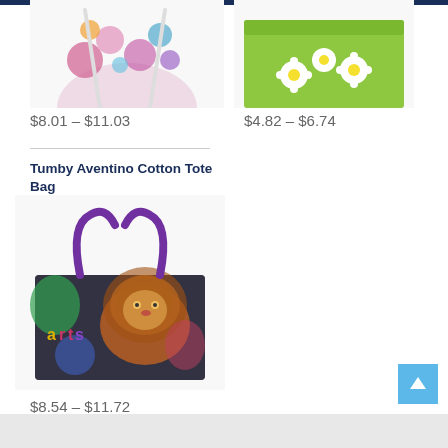[Figure (photo): Top portion of a colorful floral drawstring bag on white background, partially cropped]
[Figure (photo): Top portion of a green box with daisy flower design on white background, partially cropped]
$8.01 – $11.03
$4.82 – $6.74
Tumby Aventino Cotton Tote Bag
[Figure (photo): A tote bag with purple handles featuring a colorful lion artwork and 'arts' text on a dark background]
$8.54 – $11.72